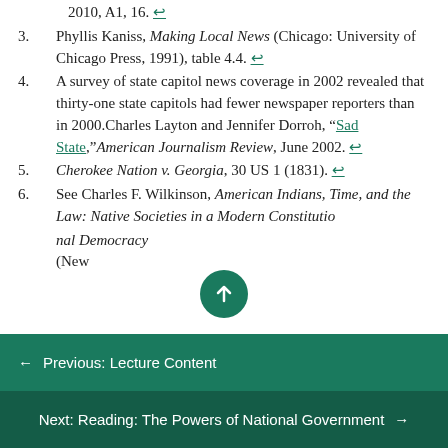2010, A1, 16. ↩
3. Phyllis Kaniss, Making Local News (Chicago: University of Chicago Press, 1991), table 4.4. ↩
4. A survey of state capitol news coverage in 2002 revealed that thirty-one state capitols had fewer newspaper reporters than in 2000.Charles Layton and Jennifer Dorroh, "Sad State,"American Journalism Review, June 2002. ↩
5. Cherokee Nation v. Georgia, 30 US 1 (1831). ↩
6. See Charles F. Wilkinson, American Indians, Time, and the Law: Native Societies in a Modern Constitutional Democracy (New
← Previous: Lecture Content
Next: Reading: The Powers of National Government →